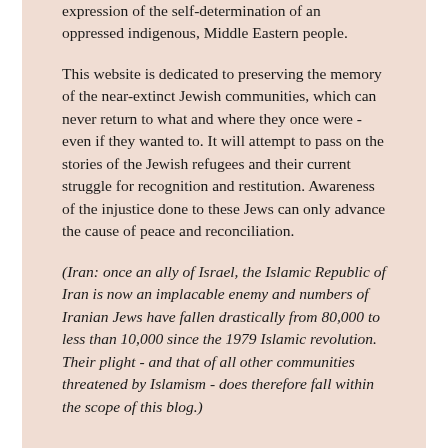expression of the self-determination of an oppressed indigenous, Middle Eastern people.
This website is dedicated to preserving the memory of the near-extinct Jewish communities, which can never return to what and where they once were - even if they wanted to. It will attempt to pass on the stories of the Jewish refugees and their current struggle for recognition and restitution. Awareness of the injustice done to these Jews can only advance the cause of peace and reconciliation.
(Iran: once an ally of Israel, the Islamic Republic of Iran is now an implacable enemy and numbers of Iranian Jews have fallen drastically from 80,000 to less than 10,000 since the 1979 Islamic revolution. Their plight - and that of all other communities threatened by Islamism - does therefore fall within the scope of this blog.)
Subscribe via email